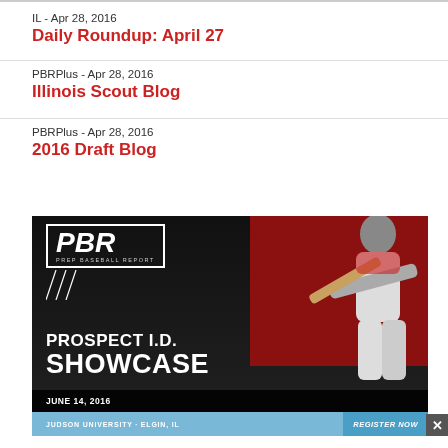IL - Apr 28, 2016
Daily Roundup: April 27
PBRPlus - Apr 28, 2016
Illinois Scout Blog
PBRPlus - Apr 28, 2016
2016 Draft Blog
[Figure (illustration): PBR (Prep Baseball Report) Prospect I.D. Showcase advertisement banner. Shows a baseball batter in action on the right side with a red and dark background. Contains PBR logo, text 'PROSPECT I.D. SHOWCASE', date 'JUNE 14, 2016', location 'JUDSON UNIVERSITY · ELGIN, IL', and 'REGISTER NOW' button. A close X button appears at bottom right.]